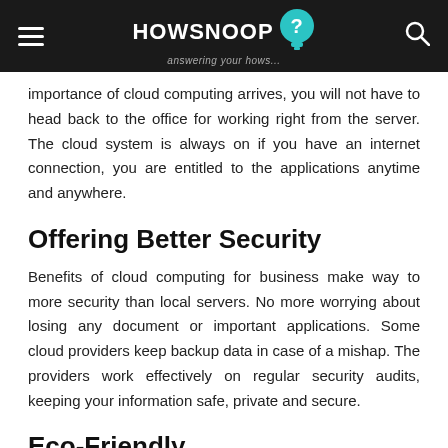HOWSNOOP answering your hows...
importance of cloud computing arrives, you will not have to head back to the office for working right from the server. The cloud system is always on if you have an internet connection, you are entitled to the applications anytime and anywhere.
Offering Better Security
Benefits of cloud computing for business make way to more security than local servers. No more worrying about losing any document or important applications. Some cloud providers keep backup data in case of a mishap. The providers work effectively on regular security audits, keeping your information safe, private and secure.
Eco-Friendly